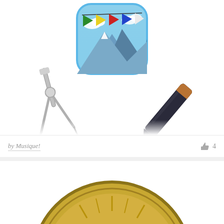[Figure (illustration): App icon showing prayer flags and mountains on blue sky background, compass/drafting tool on bottom left, pen/stylus on bottom right]
by Musique!
4
[Figure (illustration): Partial view of a gold/bronze circular medallion or coin with decorative design]